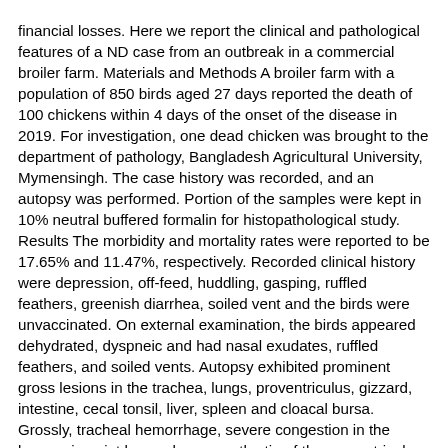financial losses. Here we report the clinical and pathological features of a ND case from an outbreak in a commercial broiler farm. Materials and Methods A broiler farm with a population of 850 birds aged 27 days reported the death of 100 chickens within 4 days of the onset of the disease in 2019. For investigation, one dead chicken was brought to the department of pathology, Bangladesh Agricultural University, Mymensingh. The case history was recorded, and an autopsy was performed. Portion of the samples were kept in 10% neutral buffered formalin for histopathological study. Results The morbidity and mortality rates were reported to be 17.65% and 11.47%, respectively. Recorded clinical history were depression, off-feed, huddling, gasping, ruffled feathers, greenish diarrhea, soiled vent and the birds were unvaccinated. On external examination, the birds appeared dehydrated, dyspneic and had nasal exudates, ruffled feathers, and soiled vents. Autopsy exhibited prominent gross lesions in the trachea, lungs, proventriculus, gizzard, intestine, cecal tonsil, liver, spleen and cloacal bursa. Grossly, tracheal hemorrhage, severe congestion in the lungs, pin point hemorrhages on the tip of the proventricular glands, hemorrhage in the cecal tonsil, button-like ulceration in the intestine and mottled spleen were suggestive of ND.